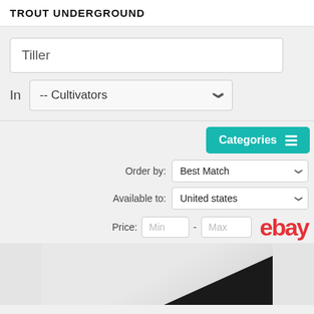TROUT UNDERGROUND
Tiller
In  -- Cultivators
Categories
Order by:  Best Match
Available to:  United states
Price:  Min - Max
[Figure (screenshot): eBay logo in red text]
[Figure (photo): Partial product image showing a dark-colored tiller/cultivator against a light gray background]